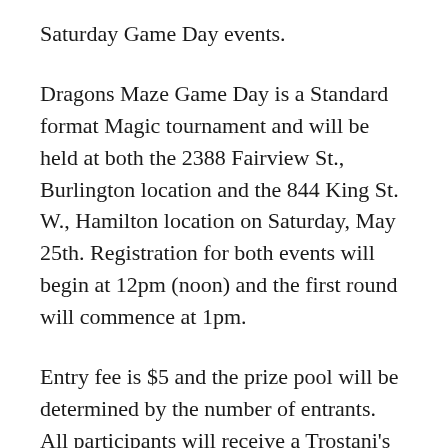Saturday Game Day events.
Dragons Maze Game Day is a Standard format Magic tournament and will be held at both the 2388 Fairview St., Burlington location and the 844 King St. W., Hamilton location on Saturday, May 25th. Registration for both events will begin at 12pm (noon) and the first round will commence at 1pm.
Entry fee is $5 and the prize pool will be determined by the number of entrants. All participants will receive a Trostani's Summoner alternate full art promo card while the top 8 in each tournament will also receive a foil alternate full art Melek, Izzet Paragon in